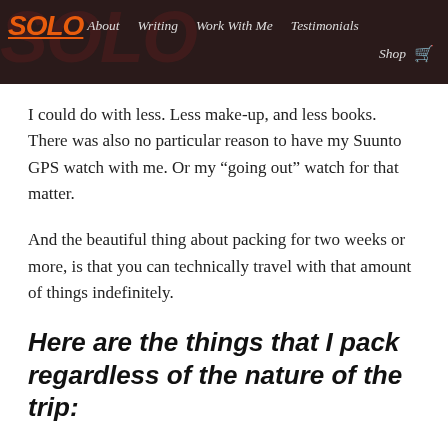SOLO | About | Writing | Work With Me | Testimonials | Shop
I could do with less. Less make-up, and less books. There was also no particular reason to have my Suunto GPS watch with me. Or my “going out” watch for that matter.
And the beautiful thing about packing for two weeks or more, is that you can technically travel with that amount of things indefinitely.
Here are the things that I pack regardless of the nature of the trip: